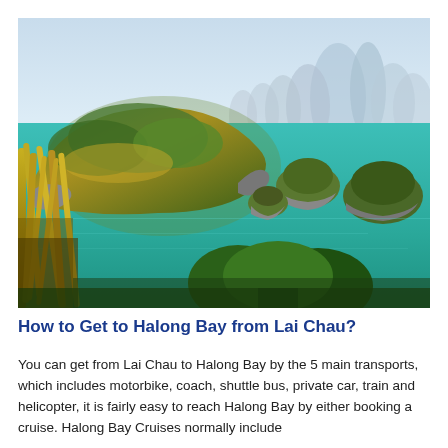[Figure (photo): Aerial view of Halong Bay, Vietnam, showing turquoise-green waters with multiple karst limestone islands covered in lush green vegetation, with tall yellow grass and tropical trees in the foreground and misty limestone peaks in the background under a pale blue sky.]
How to Get to Halong Bay from Lai Chau?
You can get from Lai Chau to Halong Bay by the 5 main transports, which includes motorbike, coach, shuttle bus, private car, train and helicopter, it is fairly easy to reach Halong Bay by either booking a cruise. Halong Bay Cruises normally include